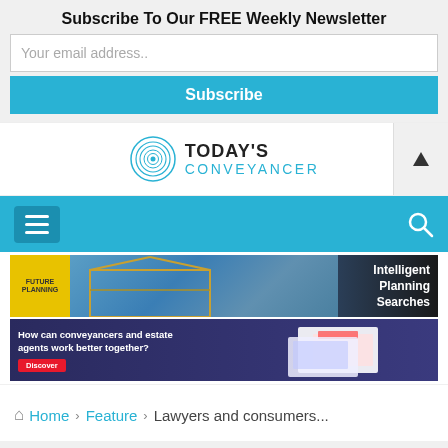Subscribe To Our FREE Weekly Newsletter
Your email address..
Subscribe
[Figure (logo): Today's Conveyancer logo with circular fingerprint/spiral icon in blue]
[Figure (screenshot): Navigation bar with hamburger menu on left and search icon on right, blue background]
[Figure (infographic): Ad banner: Intelligent Planning Searches with building frame photo and yellow Future badge]
[Figure (infographic): Ad banner: How can conveyancers and estate agents work better together? with documents image]
Home > Feature > Lawyers and consumers...